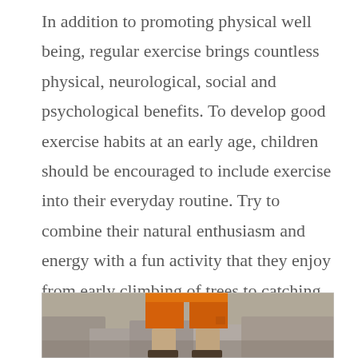In addition to promoting physical well being, regular exercise brings countless physical, neurological, social and psychological benefits. To develop good exercise habits at an early age, children should be encouraged to include exercise into their everyday routine. Try to combine their natural enthusiasm and energy with a fun activity that they enjoy from early climbing of trees to catching and throwing a ball. In this way, exercise will become not only a habit but also an eagerly anticipated activity. When exercise becomes a regular event, the benefits increase exponentially.
[Figure (photo): Partial photo showing a person wearing orange shorts/pants, standing on rocky ground, visible from the waist down.]